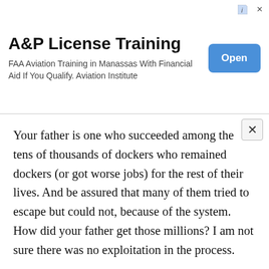[Figure (other): Advertisement banner for A&P License Training. Title: 'A&P License Training'. Subtitle: 'FAA Aviation Training in Manassas With Financial Aid If You Qualify. Aviation Institute'. Blue 'Open' button on right.]
Your father is one who succeeded among the tens of thousands of dockers who remained dockers (or got worse jobs) for the rest of their lives. And be assured that many of them tried to escape but could not, because of the system. How did your father get those millions? I am not sure there was no exploitation in the process.
You gave examples of some dysfunctions in the Soviet Union, yet they don't necessarily fit the essence of socialism